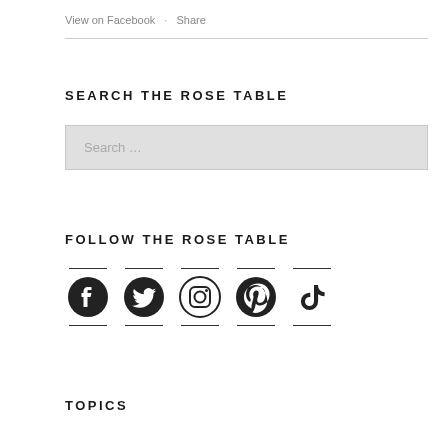View on Facebook · Share
SEARCH THE ROSE TABLE
Search …
FOLLOW THE ROSE TABLE
[Figure (other): Social media icons: Facebook, Twitter, Instagram, Pinterest, TikTok]
TOPICS